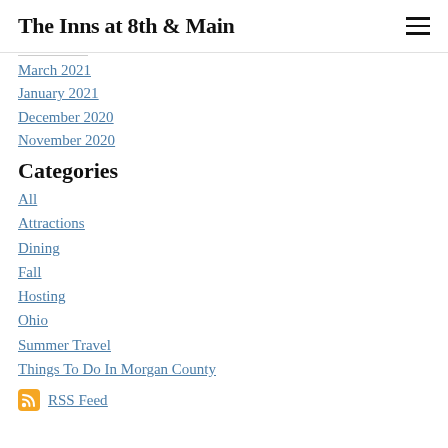The Inns at 8th & Main
March 2021
January 2021
December 2020
November 2020
Categories
All
Attractions
Dining
Fall
Hosting
Ohio
Summer Travel
Things To Do In Morgan County
RSS Feed